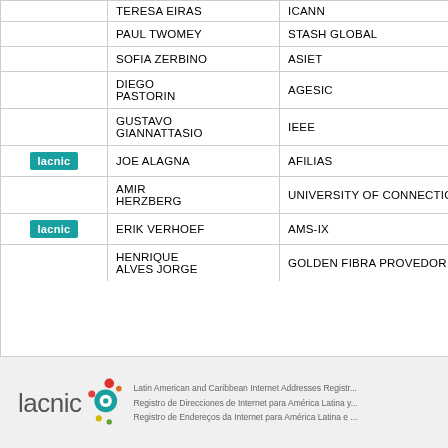|  | NAME | ORGANIZATION |
| --- | --- | --- |
|  | TERESA EIRAS | ICANN |
|  | PAUL TWOMEY | STASH GLOBAL |
|  | SOFIA ZERBINO | ASIET |
|  | DIEGO PASTORIN | AGESIC |
|  | GUSTAVO GIANNATTASIO | IEEE |
| lacnic | JOE ALAGNA | AFILIAS |
|  | AMIR HERZBERG | UNIVERSITY OF CONNECTICUT |
| lacnic | ERIK VERHOEF | AMS-IX |
|  | HENRIQUE ALVES JORGE | GOLDEN FIBRA PROVEDOR DE INT... |
[Figure (logo): LACNIC logo with colorful circles and text: Latin American and Caribbean Internet Addresses Registry, Registro de Direcciones de Internet para América Latina y, Registro de Endereços da Internet para América Latina e]